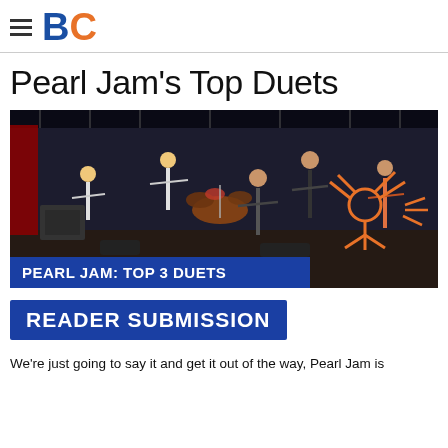BC
Pearl Jam's Top Duets
[Figure (photo): Pearl Jam band performing on stage in concert, with orange cartoon stickman mascot overlay. Text overlay reads: PEARL JAM: TOP 3 DUETS]
READER SUBMISSION
We're just going to say it and get it out of the way. Pearl Jam is